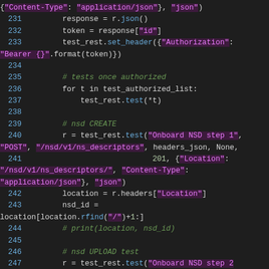[Figure (screenshot): Python source code snippet with syntax highlighting, dark background, showing lines 231-247 of a test file involving REST API calls with authorization headers and NSD descriptors.]